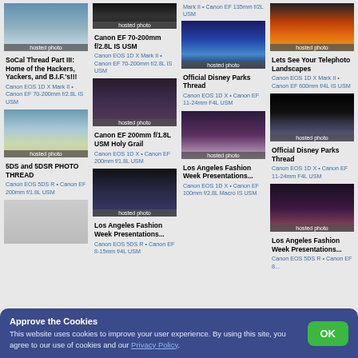[Figure (screenshot): Website screenshot showing a photography forum with 4 columns of photo threads, thumbnails with 'hosted photo' labels, thread titles, and camera equipment info. A cookie consent banner overlays the bottom.]
SoCal Thread Part III: Home of the Hackers, Yackers, and B.I.F.'s!!!
Canon EOS 1D X Mark II • Canon EF 70-200mm f/2.8L IS USM
5DS and 5DSR PHOTO THREAD
Canon EOS 5DS R • Canon EF 200mm f/1.8L USM
Canon EF 70-200mm f/2.8L IS USM
Canon EOS 1D X Mark II • Canon EF 70-200mm f/2.8L IS USM
Canon EF 200mm f/1.8L USM Holy Grail
Canon EOS 1D X • Canon EF 200mm f/1.8L USM
Los Angeles Fashion Week Presentations...
Canon EOS 5DS R • Canon EF 8-15mm f/4L USM
Mark II • Canon EF 135mm f/2L USM
Official Disney Parks Thread
Canon EOS 1D X • Canon EF 11-24mm F4L USM
Los Angeles Fashion Week Presentations...
Canon EOS 1D X • Canon EF 100mm f/2.8L Macro IS USM
Lets See Your Telephoto Landscapes
Canon EOS 1D X Mark II • Canon EF 600mm f/4L IS USM
Official Disney Parks Thread
Canon EOS 1D X • Canon EF 11-24mm F4L USM
Los Angeles Fashion Week Presentations...
Canon EOS 5DS R • Canon EF 8...
Approve the Cookies
This website uses cookies to improve your user experience. By using this site, you agree to our use of cookies and our Privacy Policy.